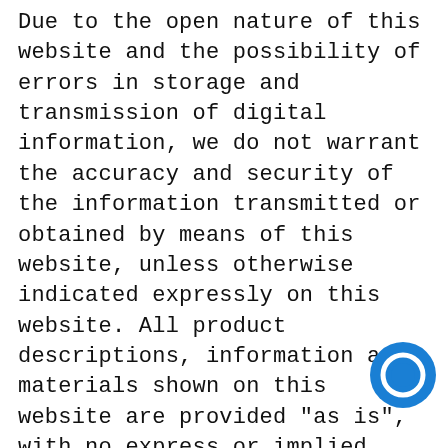Due to the open nature of this website and the possibility of errors in storage and transmission of digital information, we do not warrant the accuracy and security of the information transmitted or obtained by means of this website, unless otherwise indicated expressly on this website. All product descriptions, information and materials shown on this website are provided "as is", with no express or implied warranties or conditions of the same, except those legally established. In this sense, if you are contracting as a consumer or user, we are obliged to deliver goods that are in conformity with the Contract, being liable to you for a lack of conformity which exists at the time of delivery. It is understood that the goods are in conformity with the Contract if they file...
[Figure (other): Blue circular chat/messaging icon button in the bottom-right corner of the page]